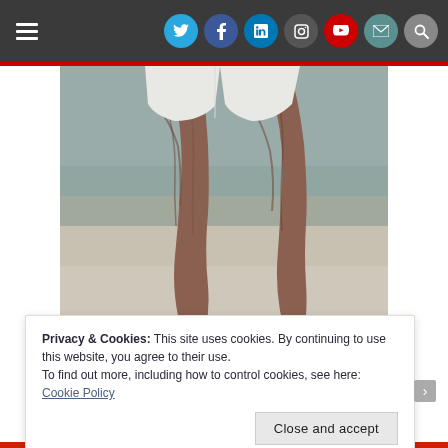Navigation bar with hamburger menu and social icons: Twitter, Facebook, LinkedIn, Instagram, YouTube, Email, Search
[Figure (photo): Muscular legs of a male athlete walking on a reflective surface, viewed from knees down, wearing white shorts]
Over 40 workout – INTENSITY MATTERS!
[Figure (other): Gray advertisement block]
Privacy & Cookies: This site uses cookies. By continuing to use this website, you agree to their use.
To find out more, including how to control cookies, see here: Cookie Policy
Close and accept